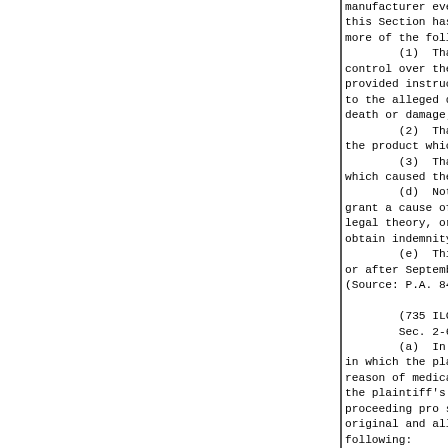manufacturer even though full compliance with this Section has been made where one or more of the following:
        (1)  That the defendant had control over the design or manufacture, provided instructions or warnings, related to the alleged defect in the product, death or damage; or
        (2)  That the defendant had actual knowledge of the defect in the product which caused the injury, death or damage.
        (3)  That the defendant created the defect which caused the injury, death or damage.
        (d)  Nothing contained in this Section shall grant a cause of action in strict liability in legal theory, or to affect the right to obtain indemnity or contribution.
        (e)  This Section applies to actions filed on or after September 24, 1979.
        (Source: P.A. 84-1043.)

        (735 ILCS 5/2-622)(from Ch. 110, par. 2-622)
        Sec. 2-622. Healing art malpractice.
        (a)  In any action, whether in contract or tort, in which the plaintiff seeks damages for injuries or death by reason of medical, hospital, or other healing art malpractice, the plaintiff's attorney or the plaintiff, if the plaintiff is proceeding pro se, shall file an affidavit, attached to the original and all copies of the complaint, declaring one of the following:
        1.  That the affiant has consulted and reviewed the facts of the case with a health professional who the affiant reasonably believes: